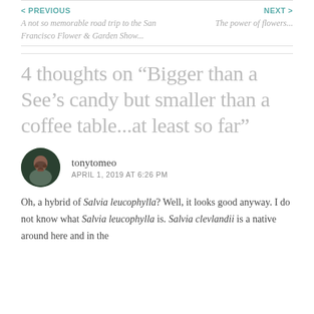< PREVIOUS | NEXT >
A not so memorable road trip to the San Francisco Flower & Garden Show...
The power of flowers...
4 thoughts on “Bigger than a See’s candy but smaller than a coffee table...at least so far”
tonytomeo
APRIL 1, 2019 AT 6:26 PM
Oh, a hybrid of Salvia leucophylla? Well, it looks good anyway. I do not know what Salvia leucophylla is. Salvia clevlandii is a native around here and in the